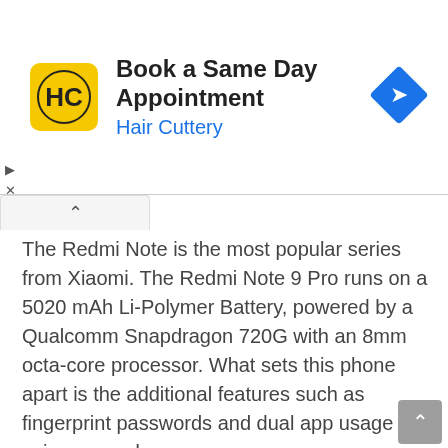[Figure (other): Hair Cuttery advertisement banner with logo, text 'Book a Same Day Appointment / Hair Cuttery', and blue navigation diamond icon]
The Redmi Note is the most popular series from Xiaomi. The Redmi Note 9 Pro runs on a 5020 mAh Li-Polymer Battery, powered by a Qualcomm Snapdragon 720G with an 8mm octa-core processor. What sets this phone apart is the additional features such as fingerprint passwords and dual app usage using second space.
Check Price on Amazon
Check Price On Flipkart
Oppo A5 2020